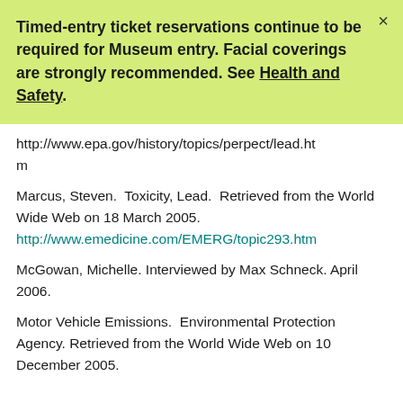Timed-entry ticket reservations continue to be required for Museum entry. Facial coverings are strongly recommended. See Health and Safety.
http://www.epa.gov/history/topics/perpect/lead.htm
Marcus, Steven.  Toxicity, Lead.  Retrieved from the World Wide Web on 18 March 2005. http://www.emedicine.com/EMERG/topic293.htm
McGowan, Michelle. Interviewed by Max Schneck. April 2006.
Motor Vehicle Emissions.  Environmental Protection Agency. Retrieved from the World Wide Web on 10 December 2005.